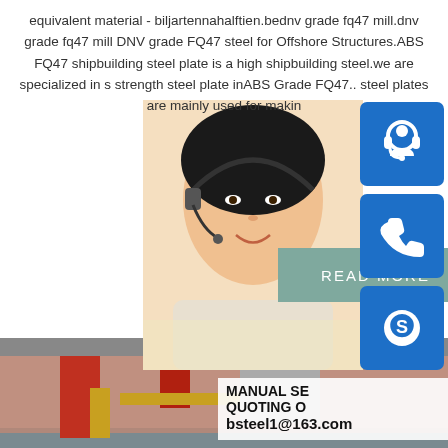equivalent material - biljartennahalftien.bednv grade fq47 mill.dnv grade fq47 mill DNV grade FQ47 steel for Offshore Structures.ABS FQ47 shipbuilding steel plate is a high shipbuilding steel.we are specialized in s strength steel plate inABS Grade FQ47.. steel plates are mainly used for makin
[Figure (photo): Customer service representative (woman with headset) and blue icon boxes for chat, phone, and Skype on the right side]
READ MORE
MANUAL SE QUOTING O bsteel1@163.com
[Figure (photo): Industrial factory floor with steel plates stacked in foreground, metal shelving and red structures in background]